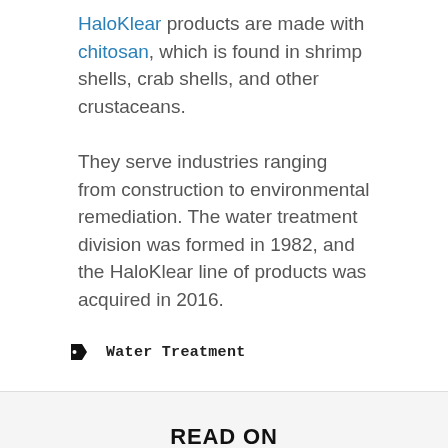HaloKlear products are made with chitosan, which is found in shrimp shells, crab shells, and other crustaceans.
They serve industries ranging from construction to environmental remediation. The water treatment division was formed in 1982, and the HaloKlear line of products was acquired in 2016.
Water Treatment
READ ON
[Figure (photo): Partial image strip showing a dark left portion and a lighter right portion, appearing to be a photograph]